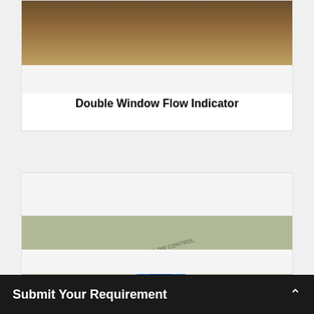[Figure (photo): Top portion of a product card showing a partially visible brownish/dark product image of a Double Window Flow Indicator]
Double Window Flow Indicator
[Figure (photo): Photo of multiple blue double window flow indicator fittings arranged on a white surface with a purple/pink stripe. Watermark text reads LEVEL AND FLOW CONTROL ENGINEERS.]
Submit Your Requirement